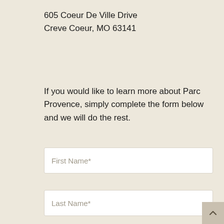605 Coeur De Ville Drive
Creve Coeur, MO 63141
If you would like to learn more about Parc Provence, simply complete the form below and we will do the rest.
First Name*
Last Name*
Email*
Phone Number